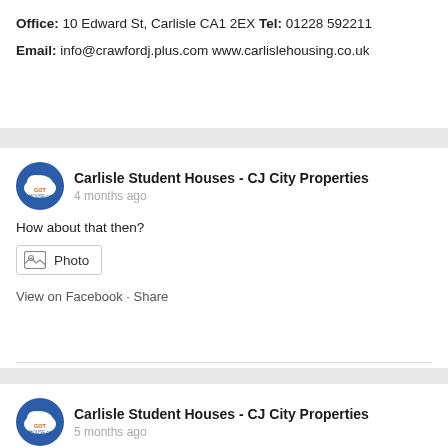Office: 10 Edward St, Carlisle CA1 2EX
Tel: 01228 592211
Email: info@crawfordj.plus.com
www.carlislehousing.co.uk
Carlisle Student Houses - CJ City Properties
4 months ago
How about that then?
Photo
View on Facebook · Share
Carlisle Student Houses - CJ City Properties
5 months ago
A nice thank you gift from a departing tenant.
Photo
View on Facebook · Share